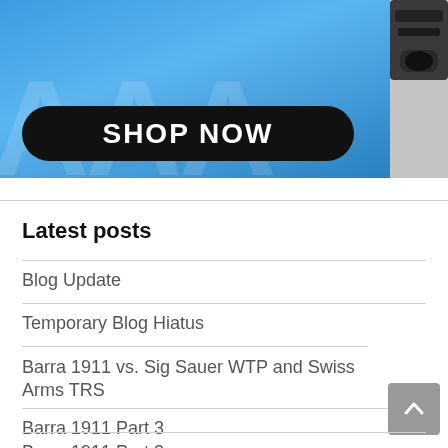[Figure (photo): Blue banner background with a firearm/gun image on the right side and a 'SHOP NOW' black pill-shaped button in the center]
Latest posts
Blog Update
Temporary Blog Hiatus
Barra 1911 vs. Sig Sauer WTP and Swiss Arms TRS
Barra 1911 Part 3
Barra 1911 Part 2